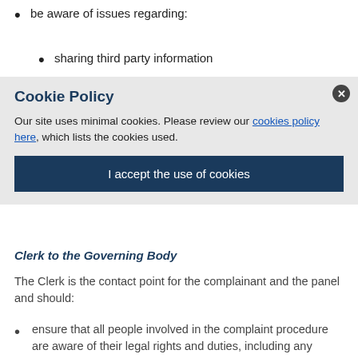be aware of issues regarding:
sharing third party information
Cookie Policy
Our site uses minimal cookies. Please review our cookies policy here, which lists the cookies used.
I accept the use of cookies
Clerk to the Governing Body
The Clerk is the contact point for the complainant and the panel and should:
ensure that all people involved in the complaint procedure are aware of their legal rights and duties, including any under legislation relating to school